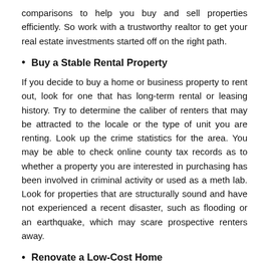comparisons to help you buy and sell properties efficiently. So work with a trustworthy realtor to get your real estate investments started off on the right path.
Buy a Stable Rental Property
If you decide to buy a home or business property to rent out, look for one that has long-term rental or leasing history. Try to determine the caliber of renters that may be attracted to the locale or the type of unit you are renting. Look up the crime statistics for the area. You may be able to check online county tax records as to whether a property you are interested in purchasing has been involved in criminal activity or used as a meth lab. Look for properties that are structurally sound and have not experienced a recent disaster, such as flooding or an earthquake, which may scare prospective renters away.
Renovate a Low-Cost Home
Remodeling a home can turn a profit when you sell it after a